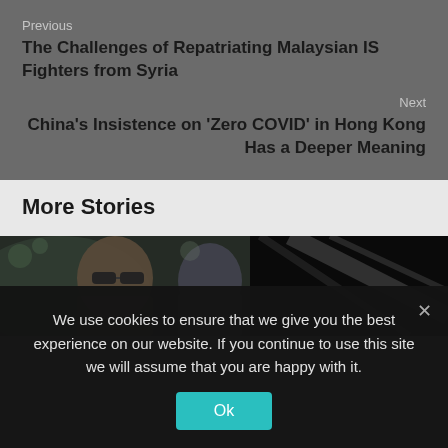Previous
The Challenges of Repatriating Malaysian IS Fighters from Syria
Next
China's Insistence on 'Zero COVID' in Hong Kong Has a Deeper Meaning
More Stories
[Figure (photo): Two photos side by side: left shows a man with sunglasses, right shows a dark abstract/diagonal lines image]
We use cookies to ensure that we give you the best experience on our website. If you continue to use this site we will assume that you are happy with it.